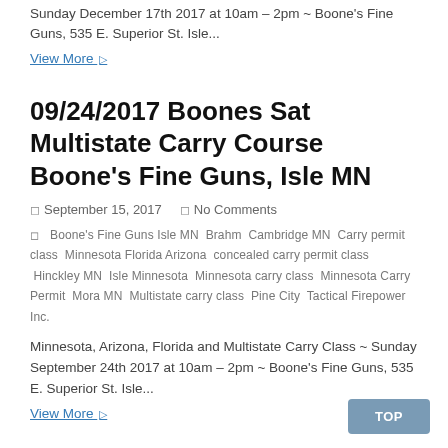Sunday December 17th 2017 at 10am – 2pm ~ Boone's Fine Guns, 535 E. Superior St. Isle...
View More ▷
09/24/2017 Boones Sat Multistate Carry Course Boone's Fine Guns, Isle MN
September 15, 2017   No Comments
Boone's Fine Guns Isle MN  Brahm  Cambridge MN  Carry permit class  Minnesota Florida Arizona  concealed carry permit class  Hinckley MN  Isle  Minnesota  Minnesota carry class  Minnesota Carry Permit  Mora MN  Multistate carry class  Pine City  Tactical Firepower Inc.
Minnesota, Arizona, Florida and Multistate Carry Class ~ Sunday September 24th 2017 at 10am – 2pm ~ Boone's Fine Guns, 535 E. Superior St. Isle...
View More ▷